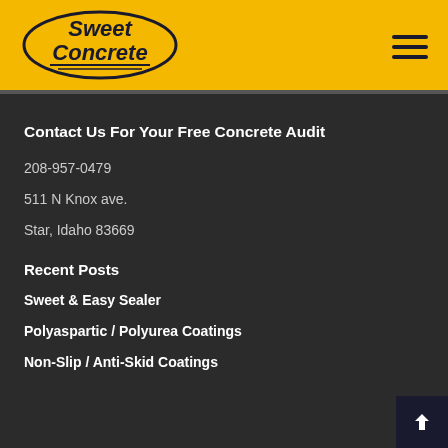[Figure (logo): Sweet Concrete oval logo with blue text on yellow background]
Contact Us For Your Free Concrete Audit
208-957-0479
511 N Knox ave.
Star, Idaho 83669
Recent Posts
Sweet & Easy Sealer
Polyaspartic / Polyurea Coatings
Non-Slip / Anti-Skid Coatings